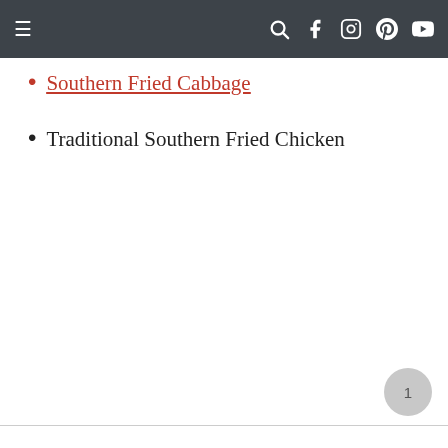Navigation bar with menu and social icons
Southern Fried Cabbage
Traditional Southern Fried Chicken